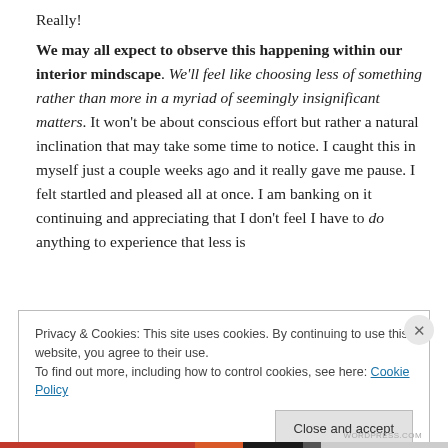Really!

We may all expect to observe this happening within our interior mindscape. We'll feel like choosing less of something rather than more in a myriad of seemingly insignificant matters. It won't be about conscious effort but rather a natural inclination that may take some time to notice. I caught this in myself just a couple weeks ago and it really gave me pause. I felt startled and pleased all at once. I am banking on it continuing and appreciating that I don't feel I have to do anything to experience that less is
Privacy & Cookies: This site uses cookies. By continuing to use this website, you agree to their use.
To find out more, including how to control cookies, see here: Cookie Policy
Close and accept